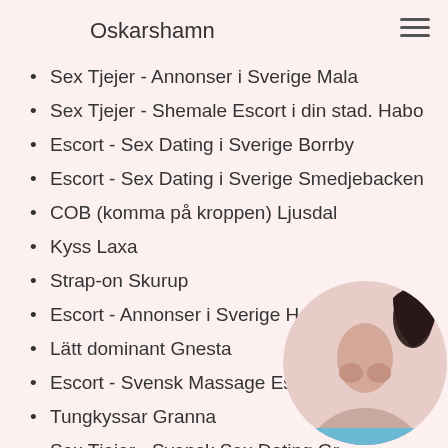Oskarshamn
Sex Tjejer - Annonser i Sverige Mala
Sex Tjejer - Shemale Escort i din stad. Habo
Escort - Sex Dating i Sverige Borrby
Escort - Sex Dating i Sverige Smedjebacken
COB (komma på kroppen) Ljusdal
Kyss Laxa
Strap-on Skurup
Escort - Annonser i Sverige Hassela
Lätt dominant Gnesta
Escort - Svensk Massage Escort Stro
Tungkyssar Granna
Sex Tjejer - Svensk Sex Dating Gr
Sexiga underkläder Kristianstad
Sex Tjejer - Annonser i Sverige Loddekoninge